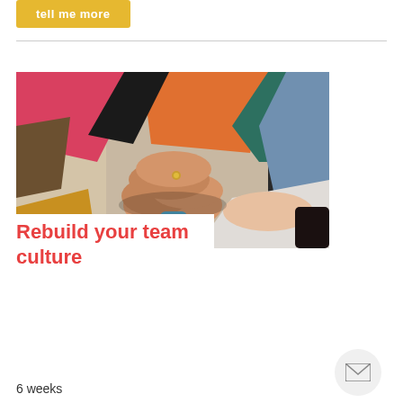tell me more
[Figure (photo): Multiple people in colorful sweaters stacking hands together in a team huddle gesture, viewed from above]
Rebuild your team culture
6 weeks